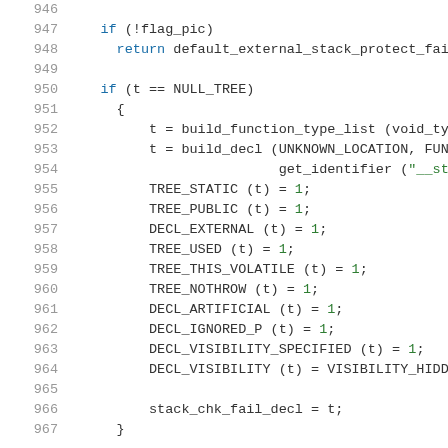Source code listing, lines 946-967, C code for stack protection
946  (blank)
947      if (!flag_pic)
948          return default_external_stack_protect_fail
949  (blank)
950      if (t == NULL_TREE)
951        {
952          t = build_function_type_list (void_type_n
953          t = build_decl (UNKNOWN_LOCATION, FUNCTIO
954                          get_identifier ("__stack_
955          TREE_STATIC (t) = 1;
956          TREE_PUBLIC (t) = 1;
957          DECL_EXTERNAL (t) = 1;
958          TREE_USED (t) = 1;
959          TREE_THIS_VOLATILE (t) = 1;
960          TREE_NOTHROW (t) = 1;
961          DECL_ARTIFICIAL (t) = 1;
962          DECL_IGNORED_P (t) = 1;
963          DECL_VISIBILITY_SPECIFIED (t) = 1;
964          DECL_VISIBILITY (t) = VISIBILITY_HIDDEN;
965  (blank)
966          stack_chk_fail_decl = t;
967        }